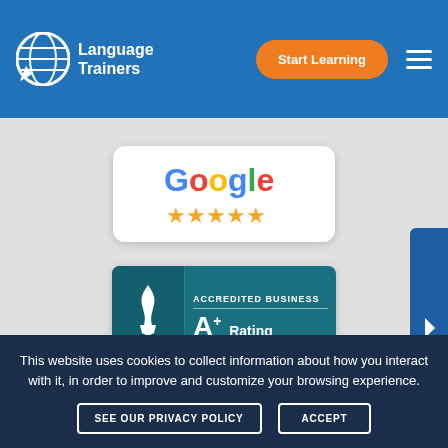[Figure (logo): Language Trainers logo with globe icon and white text on blue navigation bar]
Start Learning
[Figure (logo): Google 5-star rating badge - white card with Google text in brand colors and 5 orange stars]
[Figure (logo): BBB Accredited Business A+ Rating badge - teal/dark green background with BBB torch logo and A+ Rating text]
[Figure (logo): ISO 9001 2015 Certified badge - white card with ISO certification logo]
This website uses cookies to collect information about how you interact with it, in order to improve and customize your browsing experience.
SEE OUR PRIVACY POLICY
ACCEPT